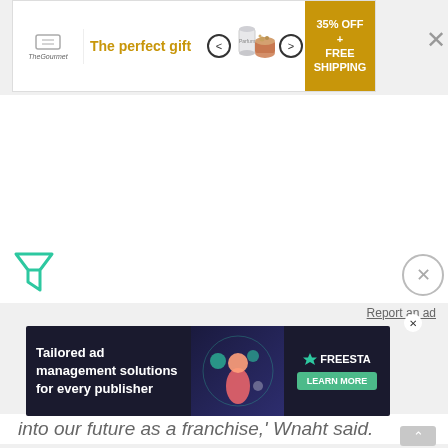[Figure (screenshot): Top advertisement banner: 'The perfect gift' with product image and '35% OFF + FREE SHIPPING' call-to-action button]
gold color scheme is expected to remain in place.
[Figure (screenshot): Filter icon (funnel shape) in teal/green color on lower left]
[Figure (screenshot): Close circle button (X in circle) on lower right]
Report an ad
[Figure (screenshot): Bottom advertisement banner: 'Tailored ad management solutions for every publisher' with Freestar logo and 'LEARN MORE' button]
into our future as a franchise,' Wnaht said.